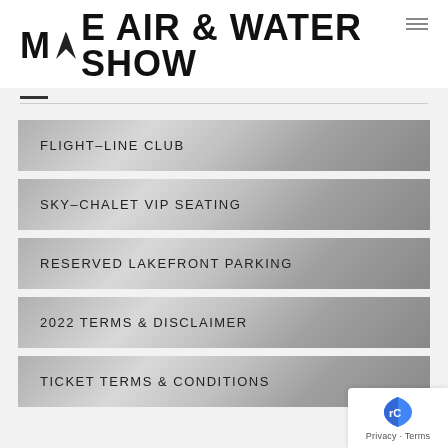MKE AIR & WATER SHOW
FLIGHT-LINE CLUB
SKY-CHALET VIP SEATING
RESERVED LAKEFRONT PARKING
2022 TERMS & DISCLAIMER
TICKET TERMS & CONDITIONS